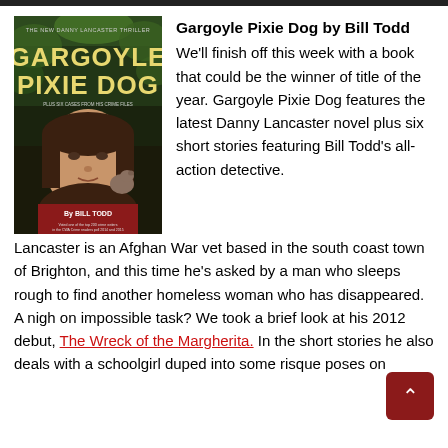[Figure (photo): Book cover of Gargoyle Pixie Dog by Bill Todd, showing a woman's face and a dog, with title text in large yellow letters on a dark background.]
Gargoyle Pixie Dog by Bill Todd
We'll finish off this week with a book that could be the winner of title of the year. Gargoyle Pixie Dog features the latest Danny Lancaster novel plus six short stories featuring Bill Todd's all-action detective. Lancaster is an Afghan War vet based in the south coast town of Brighton, and this time he's asked by a man who sleeps rough to find another homeless woman who has disappeared. A nigh on impossible task? We took a brief look at his 2012 debut, The Wreck of the Margherita. In the short stories he also deals with a schoolgirl duped into some risque poses on